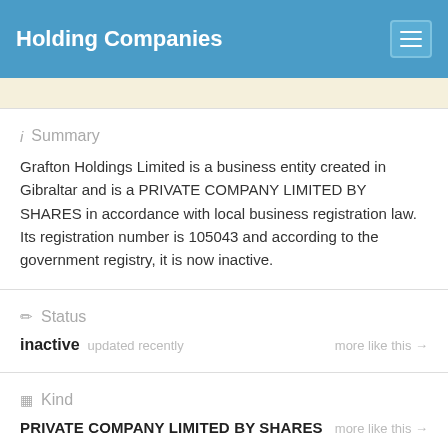Holding Companies
Summary
Grafton Holdings Limited is a business entity created in Gibraltar and is a PRIVATE COMPANY LIMITED BY SHARES in accordance with local business registration law. Its registration number is 105043 and according to the government registry, it is now inactive.
Status
inactive updated recently
more like this →
Kind
PRIVATE COMPANY LIMITED BY SHARES
more like this →